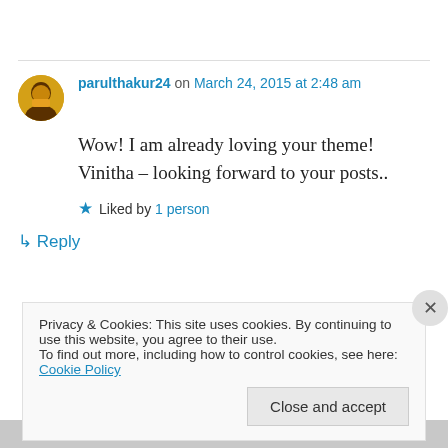parulthakur24 on March 24, 2015 at 2:48 am
Wow! I am already loving your theme! Vinitha – looking forward to your posts..
Liked by 1 person
↳ Reply
Privacy & Cookies: This site uses cookies. By continuing to use this website, you agree to their use. To find out more, including how to control cookies, see here: Cookie Policy
Close and accept